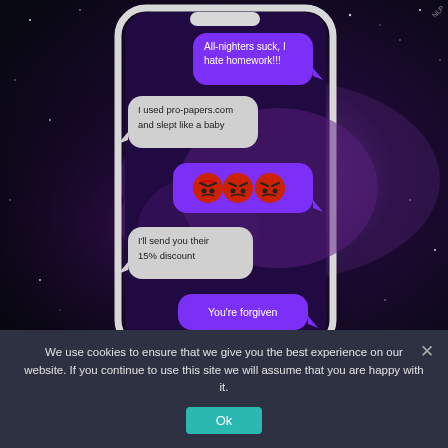[Figure (screenshot): Screenshot of a smartphone showing a text message conversation with bubbles: right side purple bubble 'All-nighters suck, I hate homework!!!', left side grey bubble 'I used pro-papers.com and slept like a baby', right side purple bubble with three angry red face emojis, left side grey bubble 'I'll send you their 15% discount', right side purple bubble 'You're forgiven'. Phone displayed on a galaxy/space background.]
We use cookies to ensure that we give you the best experience on our website. If you continue to use this site we will assume that you are happy with it.